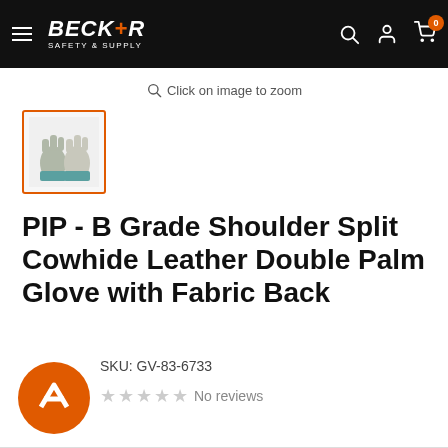Becker Safety & Supply — navigation bar with logo, hamburger menu, search, account, and cart icons
Click on image to zoom
[Figure (photo): Thumbnail of leather work gloves with teal/grey coloring, shown with orange border indicating selected state]
PIP - B Grade Shoulder Split Cowhide Leather Double Palm Glove with Fabric Back
SKU: GV-83-6733
No reviews